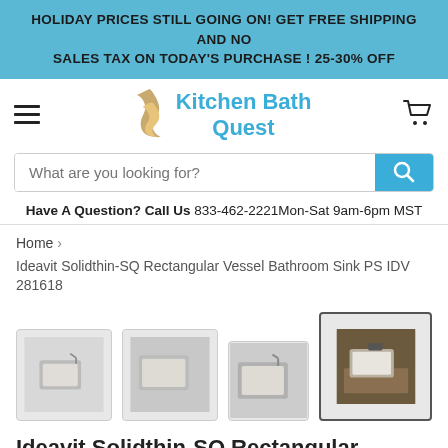HOLIDAY PRICES STILL GOING ON! GET FREE SHIPPING AND NO SALES TAX ON TODAY'S PURCHASE ! 25-30% OFF
[Figure (logo): Kitchen Bath Quest logo with flame icon]
What are you looking for?
Have A Question? Call Us  833-462-2221Mon-Sat 9am-6pm MST
Home > Ideavit Solidthin-SQ Rectangular Vessel Bathroom Sink PS IDV 281618
[Figure (photo): Four product thumbnail images of the Ideavit Solidthin-SQ Rectangular Vessel Bathroom Sink, last one selected/active]
Ideavit Solidthin-SQ Rectangular